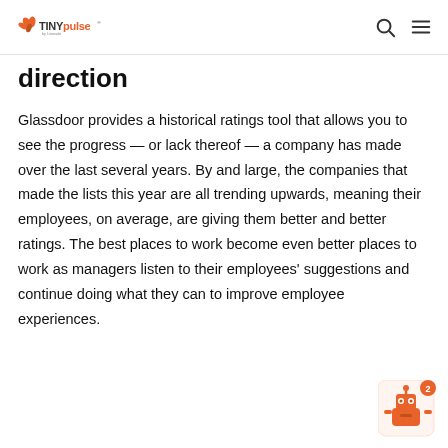TINYpulse by Limeade
direction
Glassdoor provides a historical ratings tool that allows you to see the progress — or lack thereof — a company has made over the last several years. By and large, the companies that made the lists this year are all trending upwards, meaning their employees, on average, are giving them better and better ratings. The best places to work become even better places to work as managers listen to their employees' suggestions and continue doing what they can to improve employee experiences.
[Figure (illustration): Chat widget robot icon with badge showing number 2]